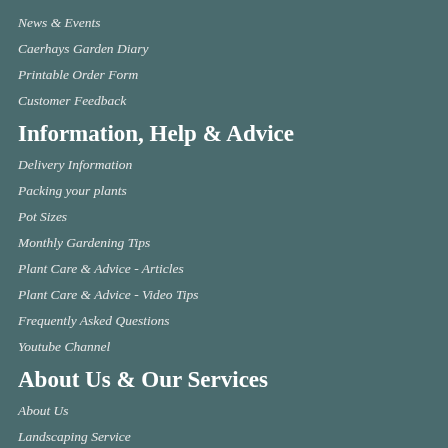News & Events
Caerhays Garden Diary
Printable Order Form
Customer Feedback
Information, Help & Advice
Delivery Information
Packing your plants
Pot Sizes
Monthly Gardening Tips
Plant Care & Advice - Articles
Plant Care & Advice - Video Tips
Frequently Asked Questions
Youtube Channel
About Us & Our Services
About Us
Landscaping Service
Professional Gardeners/Trade
Export Information
Gift Wrapping